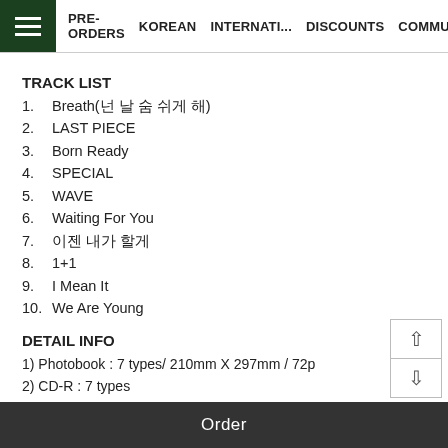PRE-ORDERS   KOREAN   INTERNATI...   DISCOUNTS   COMMUNITY
TRACK LIST
1.  Breath(넌 날 숨 쉬게 해)
2.  LAST PIECE
3.  Born Ready
4.  SPECIAL
5.  WAVE
6.  Waiting For You
7.  이젠 내가 할게
8.  1+1
9.  I Mean It
10.  We Are Young
DETAIL INFO
1) Photobook : 7 types/ 210mm X 297mm / 72p
2) CD-R : 7 types
3) Photocard : 7 types / 55mm X 85mm / Random 2 out of 49
4) Mini folding poster : 7 types / 210mm X 297mm / Random 1 out of 7
5) Moment film : 7 types / 120mm X 55mm / Random 1 out of 7
** Pre-order only